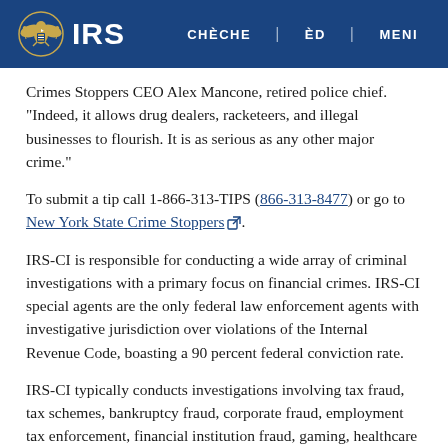IRS | CHÈCHE | ÈD | MENI
Crimes Stoppers CEO Alex Mancone, retired police chief. "Indeed, it allows drug dealers, racketeers, and illegal businesses to flourish. It is as serious as any other major crime."
To submit a tip call 1-866-313-TIPS (866-313-8477) or go to New York State Crime Stoppers.
IRS-CI is responsible for conducting a wide array of criminal investigations with a primary focus on financial crimes. IRS-CI special agents are the only federal law enforcement agents with investigative jurisdiction over violations of the Internal Revenue Code, boasting a 90 percent federal conviction rate.
IRS-CI typically conducts investigations involving tax fraud, tax schemes, bankruptcy fraud, corporate fraud, employment tax enforcement, financial institution fraud, gaming, healthcare fraud, identity theft schemes, money laundering, and public corruption.
New York State Crime Stoppers, a 501(c)(3) not-for-profit organization, is a resource for federal, state, county, and local